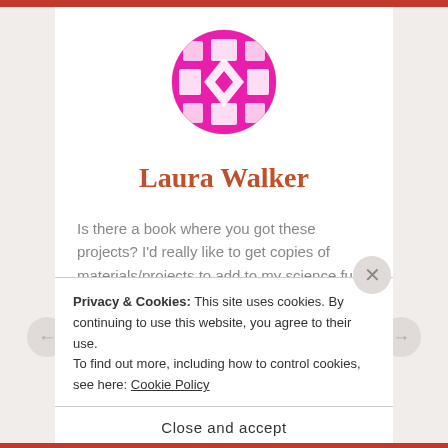[Figure (logo): Circular pink/magenta decorative logo with geometric pattern (squares and diamonds arranged in a circular Celtic/mosaic style design)]
Laura Walker
Is there a book where you got these projects? I'd really like to get copies of materials/projects to add to my science fun day projects binder. Thanks for the ideas!
★ Like
Privacy & Cookies: This site uses cookies. By continuing to use this website, you agree to their use.
To find out more, including how to control cookies, see here: Cookie Policy
Close and accept